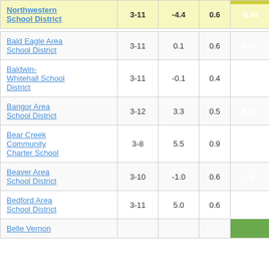| School District | Grades | Col3 | Col4 | Score |
| --- | --- | --- | --- | --- |
| Northwestern School District | 3-11 | -4.4 | 0.6 | -6.84 |
| Bald Eagle Area School District | 3-11 | 0.1 | 0.6 | 0.16 |
| Baldwin-Whitehall School District | 3-11 | -0.1 | 0.4 | -0.17 |
| Bangor Area School District | 3-12 | 3.3 | 0.5 | 6.54 |
| Bear Creek Community Charter School | 3-8 | 5.5 | 0.9 | 6.44 |
| Beaver Area School District | 3-10 | -1.0 | 0.6 | -1.67 |
| Bedford Area School District | 3-11 | 5.0 | 0.6 | 8.52 |
| Belle Vernon |  |  |  |  |